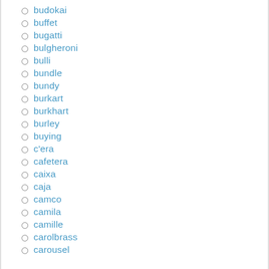budokai
buffet
bugatti
bulgheroni
bulli
bundle
bundy
burkart
burkhart
burley
buying
c'era
cafetera
caixa
caja
camco
camila
camille
carolbrass
carousel